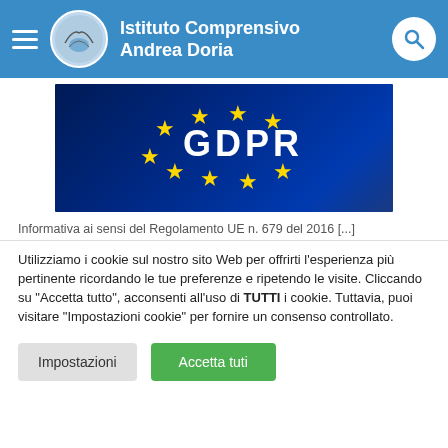Istituto Comprensivo Andrea Doria
[Figure (photo): GDPR banner image with EU flag stars on dark blue background with text 'GDPR']
Informativa ai sensi del Regolamento UE n. 679 del 2016 [...]
Utilizziamo i cookie sul nostro sito Web per offrirti l'esperienza più pertinente ricordando le tue preferenze e ripetendo le visite. Cliccando su "Accetta tutto", acconsenti all'uso di TUTTI i cookie. Tuttavia, puoi visitare "Impostazioni cookie" per fornire un consenso controllato.
Impostazioni
Accetta tuti